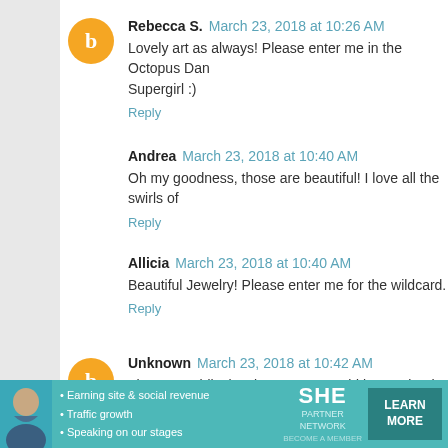Rebecca S. March 23, 2018 at 10:26 AM
Lovely art as always! Please enter me in the Octopus Dan... Supergirl :)
Reply
Andrea March 23, 2018 at 10:40 AM
Oh my goodness, those are beautiful! I love all the swirls of...
Reply
Allicia March 23, 2018 at 10:40 AM
Beautiful Jewelry! Please enter me for the wildcard.
Reply
Unknown March 23, 2018 at 10:42 AM
Those are ridiculously pretty!! I would love to be the wildcar...
Reply
[Figure (infographic): SHE Partner Network advertisement banner with teal background, bullet points about earning site & social revenue, traffic growth, speaking on stages, SHE logo, and LEARN MORE button]